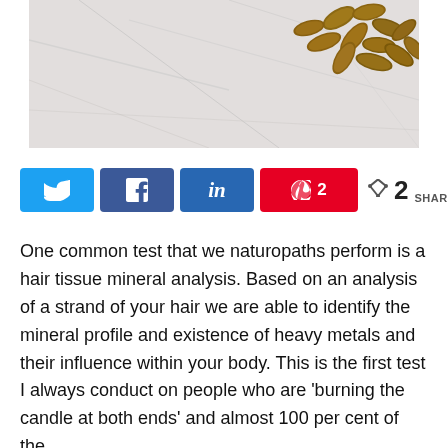[Figure (photo): Almonds scattered on a white marble surface]
[Figure (infographic): Social sharing buttons: Twitter, Facebook, LinkedIn, Pinterest (2 shares), and a share count showing 2 SHARES]
One common test that we naturopaths perform is a hair tissue mineral analysis. Based on an analysis of a strand of your hair we are able to identify the mineral profile and existence of heavy metals and their influence within your body. This is the first test I always conduct on people who are 'burning the candle at both ends' and almost 100 per cent of the